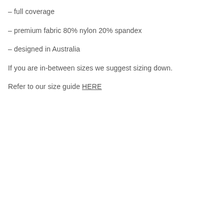– full coverage
– premium fabric 80% nylon 20% spandex
– designed in Australia
If you are in-between sizes we suggest sizing down.
Refer to our size guide HERE